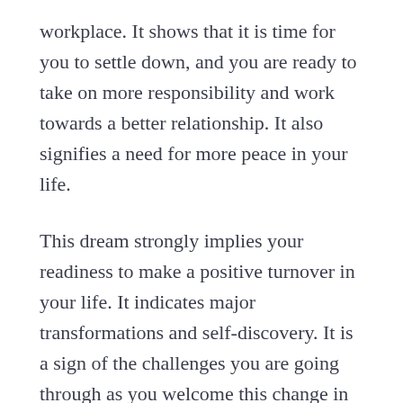workplace. It shows that it is time for you to settle down, and you are ready to take on more responsibility and work towards a better relationship. It also signifies a need for more peace in your life.
This dream strongly implies your readiness to make a positive turnover in your life. It indicates major transformations and self-discovery. It is a sign of the challenges you are going through as you welcome this change in your life; that you are ready to start a new chapter in life.
Astrological Interpretation of Dreams About Carpets